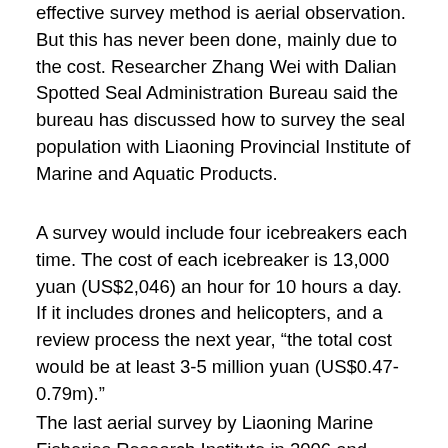effective survey method is aerial observation. But this has never been done, mainly due to the cost. Researcher Zhang Wei with Dalian Spotted Seal Administration Bureau said the bureau has discussed how to survey the seal population with Liaoning Provincial Institute of Marine and Aquatic Products.
A survey would include four icebreakers each time. The cost of each icebreaker is 13,000 yuan (US$2,046) an hour for 10 hours a day. If it includes drones and helicopters, and a review process the next year, “the total cost would be at least 3-5 million yuan (US$0.47-0.79m).”
The last aerial survey by Liaoning Marine Fisheries Research Institute in 2006 and 2007 put the